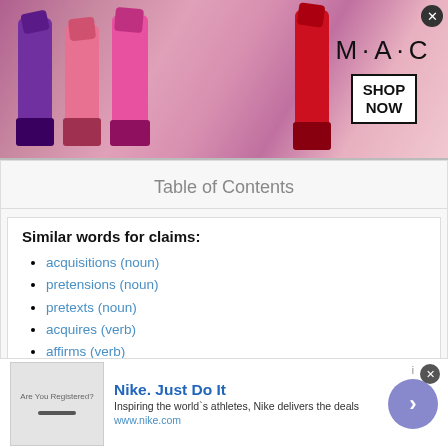[Figure (illustration): MAC cosmetics advertisement banner showing lipsticks on the left, MAC logo text in the center, and a 'SHOP NOW' box on the right with a close button]
Table of Contents
Similar words for claims:
acquisitions (noun)
pretensions (noun)
pretexts (noun)
acquires (verb)
affirms (verb)
petitions (verb)
possesses (verb)
pretends (verb)
other synonyms
other relevant words
other relevant words (noun)
[Figure (illustration): Nike advertisement banner with Nike logo area on left, 'Nike. Just Do It' title, tagline 'Inspiring the world's athletes, Nike delivers the deals', URL www.nike.com, and a circular arrow button on the right]